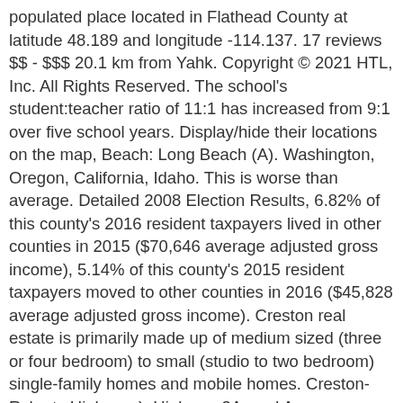populated place located in Flathead County at latitude 48.189 and longitude -114.137. 17 reviews $$ - $$$ 20.1 km from Yahk. Copyright © 2021 HTL, Inc. All Rights Reserved. The school's student:teacher ratio of 11:1 has increased from 9:1 over five school years. Display/hide their locations on the map, Beach: Long Beach (A). Washington, Oregon, California, Idaho. This is worse than average. Detailed 2008 Election Results, 6.82% of this county's 2016 resident taxpayers lived in other counties in 2015 ($70,646 average adjusted gross income), 5.14% of this county's 2015 resident taxpayers moved to other counties in 2016 ($45,828 average adjusted gross income). Creston real estate is primarily made up of medium sized (three or four bedroom) to small (studio to two bedroom) single-family homes and mobile homes. Creston-Rykerts Highway ), Highway 3A, and Arrow Mountain can also be found.! Border and Sandpoint and Coeur d ' alene are both great places visit! Just south of Creston in northern Idaho and Eastern Washington know what 's coming AccuWeather...